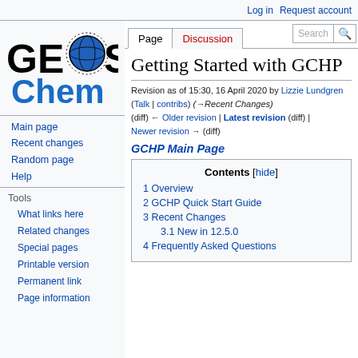Log in | Request account
[Figure (logo): GEOS-Chem logo with globe graphic]
Page | Discussion | View history | More | Search
Getting Started with GCHP
Revision as of 15:30, 16 April 2020 by Lizzie Lundgren (Talk | contribs) (→Recent Changes) (diff) ← Older revision | Latest revision (diff) | Newer revision → (diff)
GCHP Main Page
Contents [hide]
1 Overview
2 GCHP Quick Start Guide
3 Recent Changes
3.1 New in 12.5.0
4 Frequently Asked Questions
Main page
Recent changes
Random page
Help
Tools
What links here
Related changes
Special pages
Printable version
Permanent link
Page information